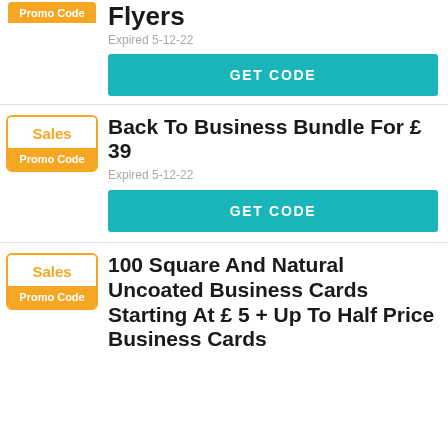Flyers
Expired 5-12-22
GET CODE
Back To Business Bundle For £ 39
Expired 5-12-22
GET CODE
100 Square And Natural Uncoated Business Cards Starting At £ 5 + Up To Half Price Business Cards